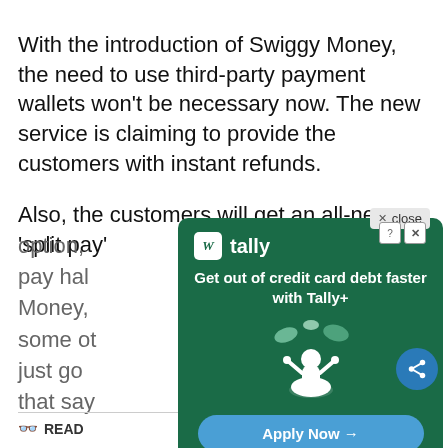With the introduction of Swiggy Money, the need to use third-party payment wallets won't be necessary now. The new service is claiming to provide the customers with instant refunds.
Also, the customers will get an all-new 'split pay' option, [obscured by ad] ion to pay half [obscured] iggy Money, [obscured] use some ot[obscured] vice, just go o[obscured] ton that say[obscured]
[Figure (screenshot): Tally advertisement overlay: 'Get out of credit card debt faster with Tally+' with an illustration of a person meditating surrounded by credit cards and coins, an 'Apply Now →' button, and disclaimer text. Tally Technologies, Inc. NMLS #1492782 (nmlsconsumeraccess.org). Lines of credit issued by Cross River Bank, Member FDIC, or Tally Technologies, Inc. ('Tally'), as noted in your line of credit agreement. Lines of credit not available in all states.]
READ